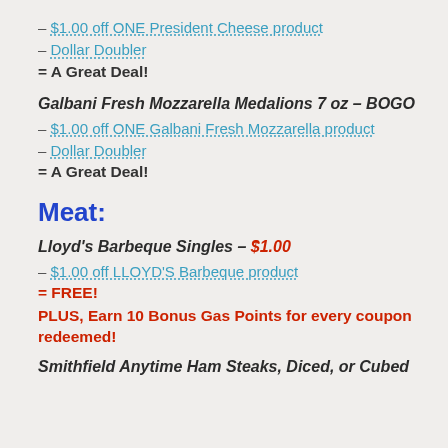– $1.00 off ONE President Cheese product
– Dollar Doubler
= A Great Deal!
Galbani Fresh Mozzarella Medalions 7 oz – BOGO
– $1.00 off ONE Galbani Fresh Mozzarella product
– Dollar Doubler
= A Great Deal!
Meat:
Lloyd's Barbeque Singles – $1.00
– $1.00 off LLOYD'S Barbeque product
= FREE!
PLUS, Earn 10 Bonus Gas Points for every coupon redeemed!
Smithfield Anytime Ham Steaks, Diced, or Cubed